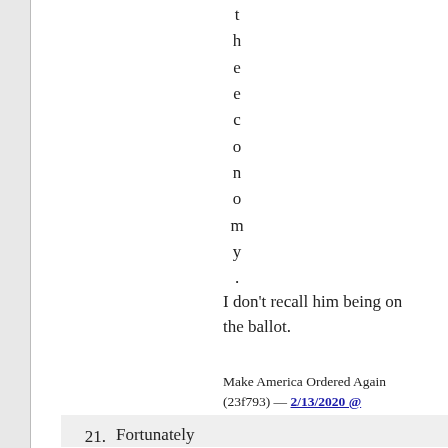t
h
e
e
c
o
n
o
m
y
.
I don't recall him being on the ballot.
Make America Ordered Again (23f793) — 2/13/2020 @ 8:30 am
21. Fortunately